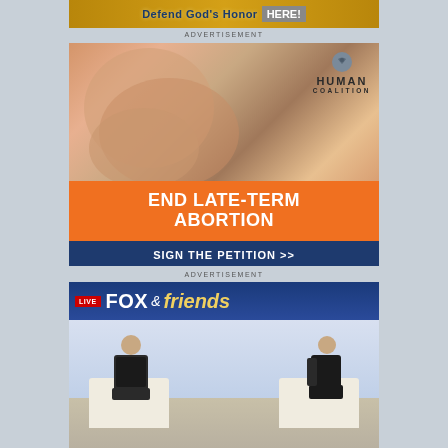[Figure (photo): Advertisement banner with text 'Defend God's Honor HERE!']
ADVERTISEMENT
[Figure (photo): Human Coalition advertisement showing a baby, with text 'END LATE-TERM ABORTION' and button 'SIGN THE PETITION >>']
ADVERTISEMENT
[Figure (screenshot): Fox & Friends television show screenshot showing two people seated in a studio interview setting]